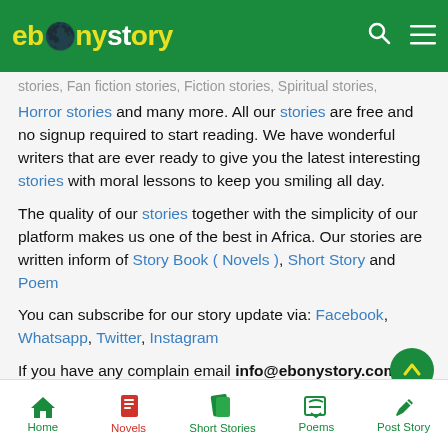ebonystory
stories, Fan fiction stories, Fiction stories, Spiritual stories, Horror stories and many more. All our stories are free and no signup required to start reading. We have wonderful writers that are ever ready to give you the latest interesting stories with moral lessons to keep you smiling all day.
The quality of our stories together with the simplicity of our platform makes us one of the best in Africa. Our stories are written inform of Story Book ( Novels ), Short Story and Poem
You can subscribe for our story update via: Facebook, Whatsapp, Twitter, Instagram
If you have any complain email info@ebonystory.com or call +2349021037057
Home | Novels | Short Stories | Poems | Post Story